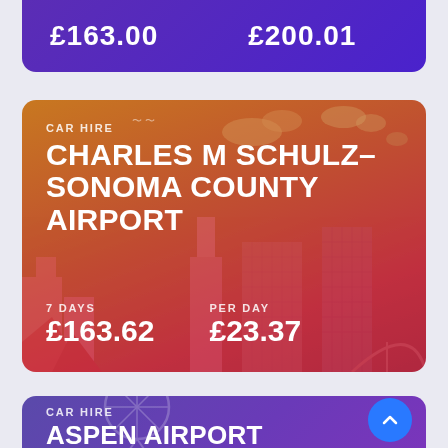[Figure (infographic): Purple card partially visible at top showing large price values £163.00 and £200.01]
[Figure (infographic): Car hire card for Charles M Schulz-Sonoma County Airport with orange-red gradient background and city skyline illustration. Shows 7 days price £163.62 and per day £23.37]
[Figure (infographic): Car hire card for Aspen Airport with purple-violet gradient background and ferris wheel illustration, partially visible at bottom. Includes scroll-up button.]